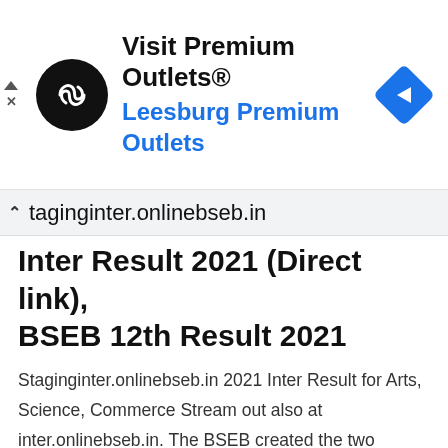[Figure (screenshot): Advertisement banner for 'Visit Premium Outlets® – Leesburg Premium Outlets' with circular black logo containing infinity-like arrow symbol and a blue diamond navigation arrow icon on the right.]
taginginter.onlinebseb.in
Inter Result 2021 (Direct link), BSEB 12th Result 2021
Staginginter.onlinebseb.in 2021 Inter Result for Arts, Science, Commerce Stream out also at inter.onlinebseb.in. The BSEB created the two websites links for Bihar Board 12th Result 2021. 1st – Staginginter.onlinebseb.in 2nd – inter.onlinebseb.in The candidates can check The Bihar Board Intermediate 2021 Marksheet Pdf online at onlinebseb.in. As per Official